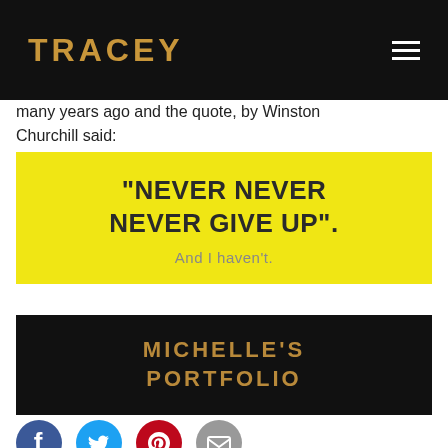TRACEY
many years ago and the quote, by Winston Churchill said:
[Figure (infographic): Yellow box with bold quote text: "NEVER NEVER NEVER GIVE UP". And I haven't.]
[Figure (infographic): Black box with gold text: MICHELLE'S PORTFOLIO]
[Figure (infographic): Social media share icons: Facebook (blue), Twitter (cyan), Pinterest (red), Email (grey)]